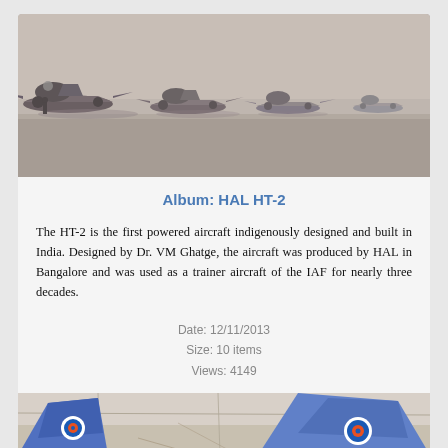[Figure (photo): Black and white photograph of multiple HAL HT-2 aircraft parked on a tarmac/airfield, viewed from the side, showing a row of propeller trainer aircraft.]
Album: HAL HT-2
The HT-2 is the first powered aircraft indigenously designed and built in India. Designed by Dr. VM Ghatge, the aircraft was produced by HAL in Bangalore and was used as a trainer aircraft of the IAF for nearly three decades.
Date: 12/11/2013
Size: 10 items
Views: 4149
[Figure (photo): Color photograph showing the tail section of HAL HT-2 aircraft with Indian Air Force roundel markings visible, aircraft on tarmac.]